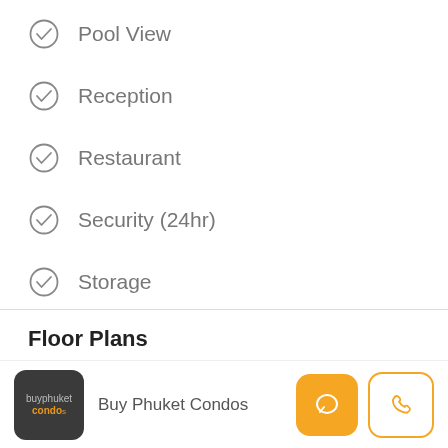Pool View
Reception
Restaurant
Security (24hr)
Storage
Floor Plans
Buy Phuket Condos